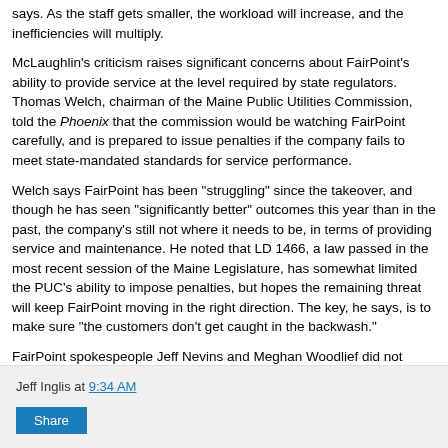says. As the staff gets smaller, the workload will increase, and the inefficiencies will multiply.
McLaughlin's criticism raises significant concerns about FairPoint's ability to provide service at the level required by state regulators. Thomas Welch, chairman of the Maine Public Utilities Commission, told the Phoenix that the commission would be watching FairPoint carefully, and is prepared to issue penalties if the company fails to meet state-mandated standards for service performance.
Welch says FairPoint has been "struggling" since the takeover, and though he has seen "significantly better" outcomes this year than in the past, the company's still not where it needs to be, in terms of providing service and maintenance. He noted that LD 1466, a law passed in the most recent session of the Maine Legislature, has somewhat limited the PUC's ability to impose penalties, but hopes the remaining threat will keep FairPoint moving in the right direction. The key, he says, is to make sure "the customers don't get caught in the backwash."
FairPoint spokespeople Jeff Nevins and Meghan Woodlief did not return multiple phone calls seeking comment for this story.
Jeff Inglis at 9:34 AM
Share